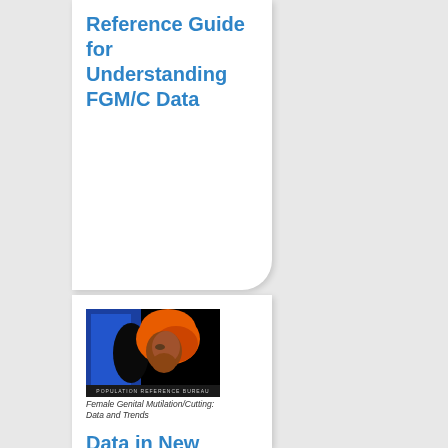Reference Guide for Understanding FGM/C Data
[Figure (illustration): Book cover of 'Female Genital Mutilation/Cutting: Data and Trends' showing a woman wearing an orange headscarf against a blue background, with 'POPULATION REFERENCE BUREAU' text at the bottom]
Female Genital Mutilation/Cutting: Data and Trends
Data in New Wallchart